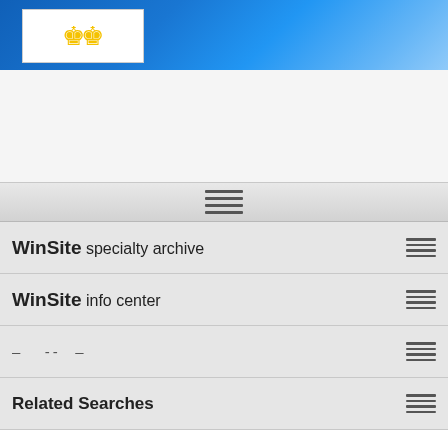[Figure (logo): WinSite website header banner with blue gradient background and a white box containing a yellow crown logo on the left side]
WinSite specialty archive
WinSite info center
– -- –
Related Searches
Home ▶ Utilities ▶ System Tools
Automator v.2.2020.1115.1